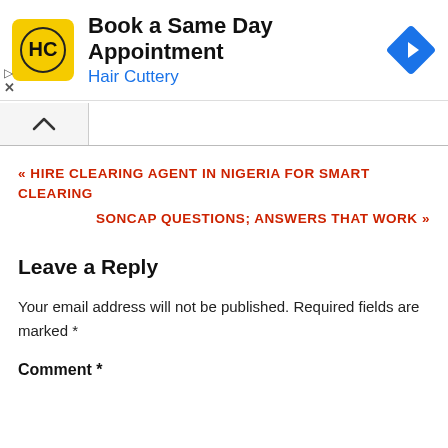[Figure (infographic): Advertisement banner for Hair Cuttery: logo (yellow square with HC text), title 'Book a Same Day Appointment', subtitle 'Hair Cuttery', blue diamond navigation icon on right. Ad controls (play and close) on left side.]
[Figure (other): Collapse/expand bar with up caret button and empty input field]
« HIRE CLEARING AGENT IN NIGERIA FOR SMART CLEARING
SONCAP QUESTIONS; ANSWERS THAT WORK »
Leave a Reply
Your email address will not be published. Required fields are marked *
Comment *